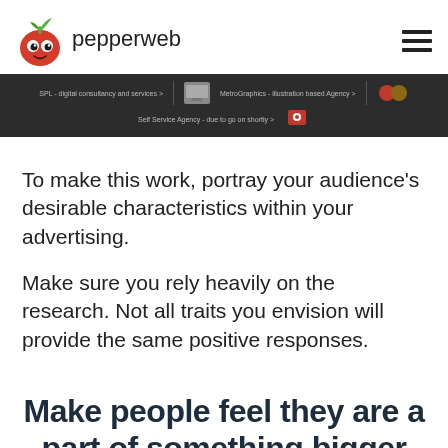pepperweb
[Figure (screenshot): Navigation bar with dark background showing links: SPL - digital consultancy and services, MetroCraphics - illustration based agency, Self Service Agency - due to go on shortly, with small thumbnail icons]
To make this work, portray your audience's desirable characteristics within your advertising.
Make sure you rely heavily on the research. Not all traits you envision will provide the same positive responses.
Make people feel they are a part of something bigger